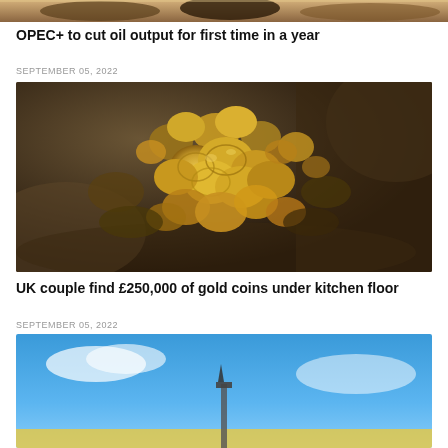[Figure (photo): Partial top strip of an image, cropped at the top of the page]
OPEC+ to cut oil output for first time in a year
SEPTEMBER 05, 2022
[Figure (photo): Close-up photograph of a pile of ancient gold coins on a stone or rocky surface]
UK couple find £250,000 of gold coins under kitchen floor
SEPTEMBER 05, 2022
[Figure (photo): Partial bottom strip of an image showing a blue sky scene, cropped at the bottom of the page]